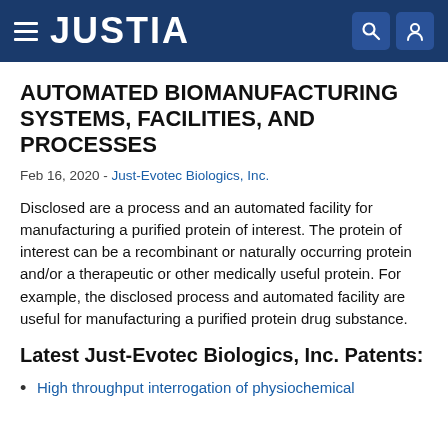JUSTIA
AUTOMATED BIOMANUFACTURING SYSTEMS, FACILITIES, AND PROCESSES
Feb 16, 2020 - Just-Evotec Biologics, Inc.
Disclosed are a process and an automated facility for manufacturing a purified protein of interest. The protein of interest can be a recombinant or naturally occurring protein and/or a therapeutic or other medically useful protein. For example, the disclosed process and automated facility are useful for manufacturing a purified protein drug substance.
Latest Just-Evotec Biologics, Inc. Patents:
High throughput interrogation of physiochemical